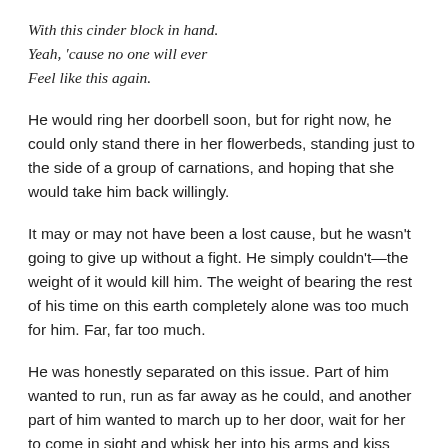With this cinder block in hand.
Yeah, 'cause no one will ever
Feel like this again.
He would ring her doorbell soon, but for right now, he could only stand there in her flowerbeds, standing just to the side of a group of carnations, and hoping that she would take him back willingly.
It may or may not have been a lost cause, but he wasn't going to give up without a fight. He simply couldn't—the weight of it would kill him. The weight of bearing the rest of his time on this earth completely alone was too much for him. Far, far too much.
He was honestly separated on this issue. Part of him wanted to run, run as far away as he could, and another part of him wanted to march up to her door, wait for her to come in sight and whisk her into his arms and kiss